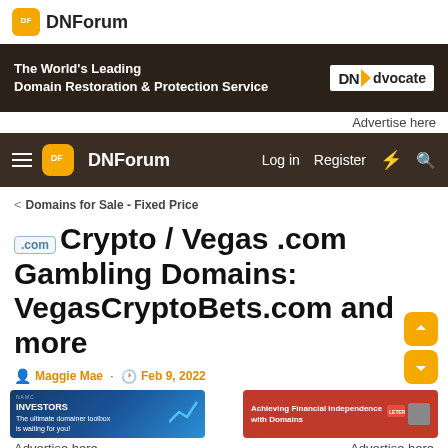DNForum
[Figure (infographic): Ad banner: The World's Leading Domain Restoration & Protection Service — DNAdvocate]
Advertise here
[Figure (infographic): DNForum navigation bar with hamburger menu, logo, Login, Register, lightning bolt, and search icons]
< Domains for Sale - Fixed Price
.com Crypto / Vegas .com Gambling Domains: VegasCryptoBets.com and more
Maggie Mae · Feb 9, 2022
[Figure (infographic): Two bottom advertisement banners: left one for INVESTORS domain toolbox, right one for Achieving Financial Independence with Domains]
Advertise here    Advertise here